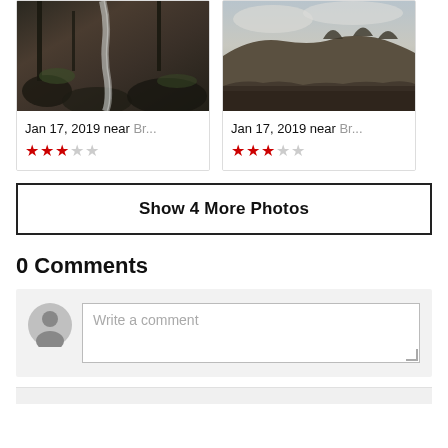[Figure (photo): Photo card 1: forest waterfall scene, date Jan 17, 2019 near Br..., rating 2.5 stars]
[Figure (photo): Photo card 2: hillside landscape scene, date Jan 17, 2019 near Br..., rating 2.5 stars]
Show 4 More Photos
0 Comments
Write a comment